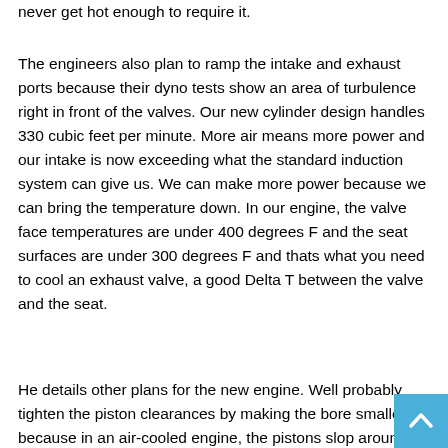never get hot enough to require it.
The engineers also plan to ramp the intake and exhaust ports because their dyno tests show an area of turbulence right in front of the valves. Our new cylinder design handles 330 cubic feet per minute. More air means more power and our intake is now exceeding what the standard induction system can give us. We can make more power because we can bring the temperature down. In our engine, the valve face temperatures are under 400 degrees F and the seat surfaces are under 300 degrees F and thats what you need to cool an exhaust valve, a good Delta T between the valve and the seat.
He details other plans for the new engine. Well probably tighten the piston clearances by making the bore smaller, because in an air-cooled engine, the pistons slop around a lot